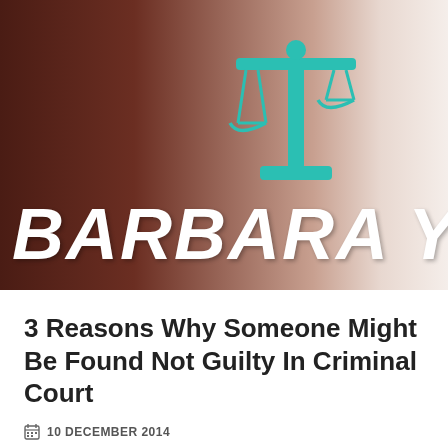[Figure (logo): Barbara Yve legal blog logo with teal scales of justice icon and white/faded text on a brown gradient background]
3 Reasons Why Someone Might Be Found Not Guilty In Criminal Court
10 DECEMBER 2014